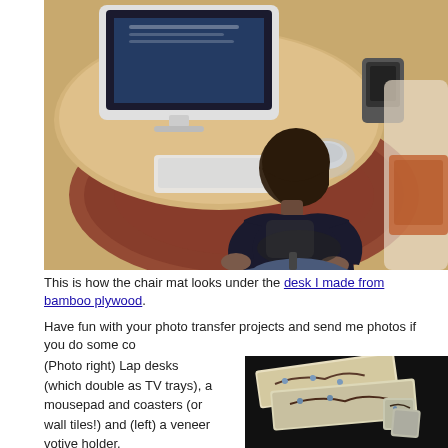[Figure (photo): Overhead view of a woman with dark hair sitting at a round bamboo plywood desk, typing on a white keyboard in front of an iMac computer. A patterned area rug is visible beneath the office chair. A phone and mouse are also on the desk.]
This is how the chair mat looks under the desk I made from bamboo plywood.
Have fun with your photo transfer projects and send me photos if you do some co
(Photo right) Lap desks (which double as TV trays), a mousepad and coasters (or wall tiles!) and (left) a veneer votive holder.
[Figure (photo): Photo of lap desks and coasters with a blue and brown floral/branch design, displayed on a dark background.]